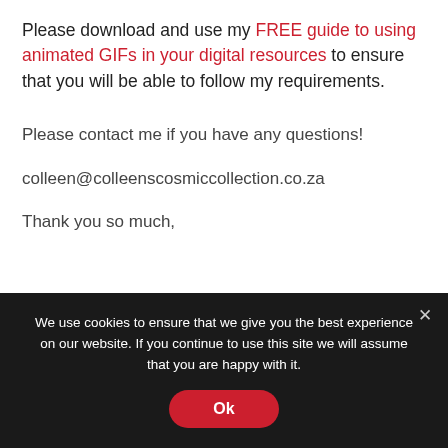Please download and use my FREE guide to using animated GIFs in your digital resources to ensure that you will be able to follow my requirements.
Please contact me if you have any questions!
colleen@colleenscosmiccollection.co.za
Thank you so much,
We use cookies to ensure that we give you the best experience on our website. If you continue to use this site we will assume that you are happy with it.